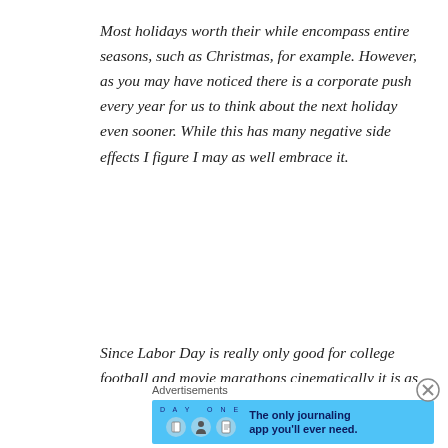Most holidays worth their while encompass entire seasons, such as Christmas, for example. However, as you may have noticed there is a corporate push every year for us to think about the next holiday even sooner. While this has many negative side effects I figure I may as well embrace it.
Since Labor Day is really only good for college football and movie marathons cinematically it is as significant as Arbor Day, which means the next big day on the calendar is Halloween and we can start looking toward it starting now.
Advertisements
[Figure (illustration): Advertisement banner for DAY ONE journaling app with blue background, icons of a journal, person, and notepad, and tagline 'The only journaling app you'll ever need.']